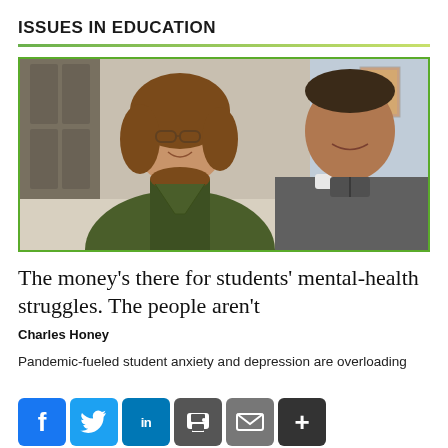ISSUES IN EDUCATION
[Figure (photo): Two people, a woman in a green jacket and a man in a gray zip-up, smiling in a school hallway.]
The money’s there for students’ mental-health struggles. The people aren’t
Charles Honey
Pandemic-fueled student anxiety and depression are overloading